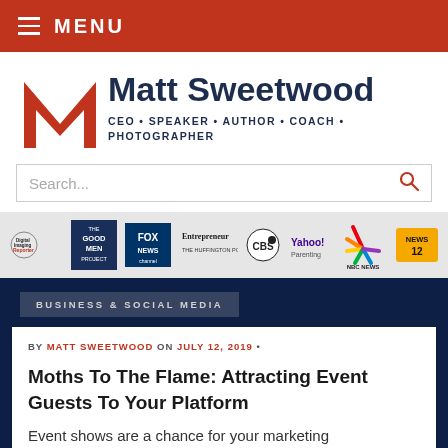MENU
Matt Sweetwood
CEO • SPEAKER • AUTHOR • COACH • PHOTOGRAPHER
[Figure (logo): Matt Sweetwood stylized red M logo]
[Figure (infographic): Media logos bar: Digital Imaging Reporter, The Good Men Project, Fox News Channel, Entrepreneur / The Huffington Post, CBS, Yahoo! Parenting, NBC News, News 12]
BUSINESS & SOCIAL MEDIA
BY MATT SWEETWOOD ON JULY 12, 2019 •
Moths To The Flame: Attracting Event Guests To Your Platform
Event shows are a chance for your marketing